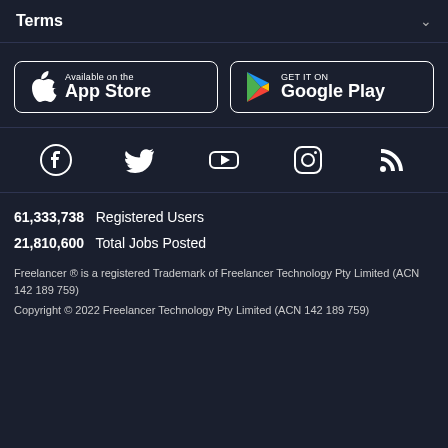Terms
[Figure (other): App Store and Google Play store download buttons]
[Figure (other): Social media icons: Facebook, Twitter, YouTube, Instagram, RSS]
61,333,738  Registered Users
21,810,600  Total Jobs Posted
Freelancer ® is a registered Trademark of Freelancer Technology Pty Limited (ACN 142 189 759)
Copyright © 2022 Freelancer Technology Pty Limited (ACN 142 189 759)